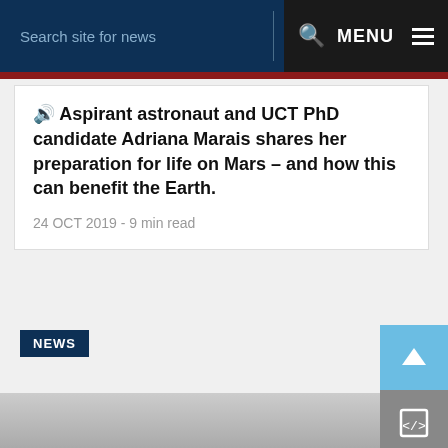Search site for news  MENU
🔊 Aspirant astronaut and UCT PhD candidate Adriana Marais shares her preparation for life on Mars – and how this can benefit the Earth.
24 OCT 2019 - 9 min read
NEWS